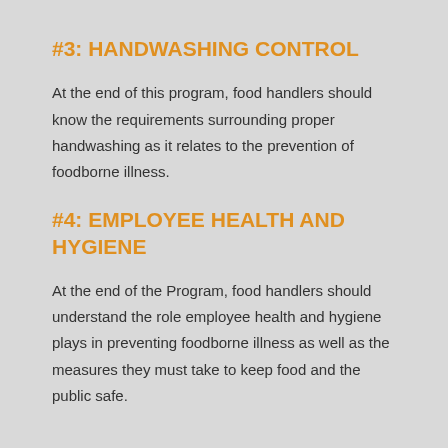#3: HANDWASHING CONTROL
At the end of this program, food handlers should know the requirements surrounding proper handwashing as it relates to the prevention of foodborne illness.
#4: EMPLOYEE HEALTH AND HYGIENE
At the end of the Program, food handlers should understand the role employee health and hygiene plays in preventing foodborne illness as well as the measures they must take to keep food and the public safe.